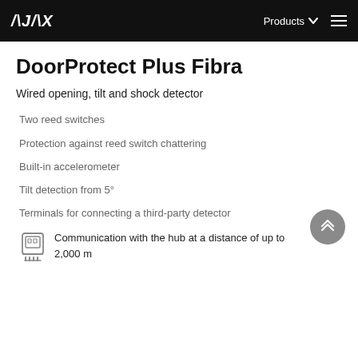AJAX  Products  ≡
DoorProtect Plus Fibra
Wired opening, tilt and shock detector
Two reed switches
Protection against reed switch chattering
Built-in accelerometer
Tilt detection from 5°
Terminals for connecting a third-party detector
Communication with the hub at a distance of up to 2,000 m